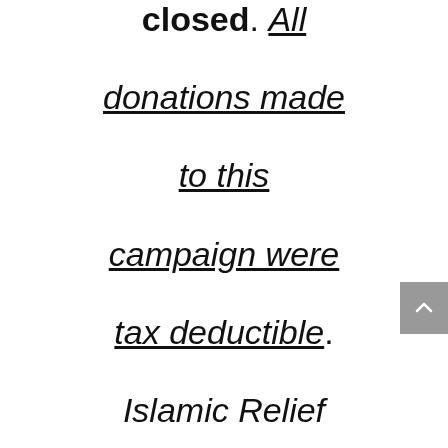closed. All donations made to this campaign were tax deductible. Islamic Relief Canada will be issuing a tax receipt for all donations made to this appeal. You will receive